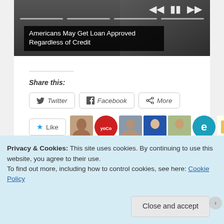[Figure (screenshot): Video/ad banner with dark background showing hands, progress bar segments, and media controls at top right]
Americans May Get Loan Approved Regardless of Credit
Share this:
[Figure (screenshot): Social share buttons: Twitter, Facebook, More; Like button with star icon and 9 blogger avatar thumbnails; text '14 bloggers like this.']
14 bloggers like this.
Privacy & Cookies: This site uses cookies. By continuing to use this website, you agree to their use.
To find out more, including how to control cookies, see here: Cookie Policy
Close and accept